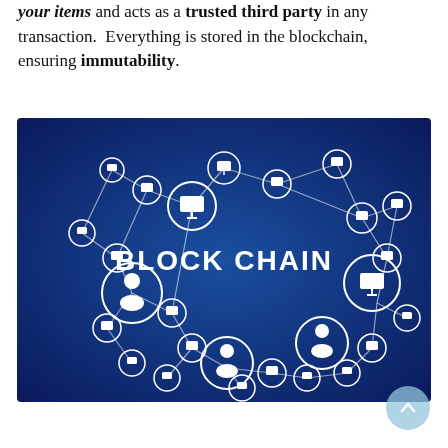your items and acts as a trusted third party in any transaction.  Everything is stored in the blockchain, ensuring immutability.
[Figure (illustration): A blockchain network diagram on a dark blue gradient background. Multiple circular nodes connected by lines, each containing icons of computers, laptops, tablets, and user silhouettes. The center reads 'BLOCK CHAIN' in bold white text.]